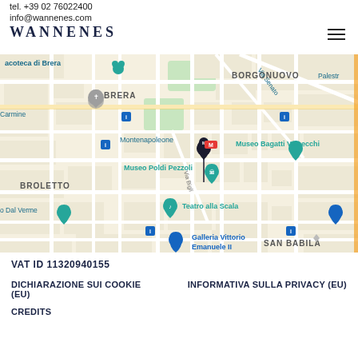tel. +39 02 76022400
info@wannenes.com
WANNENES
[Figure (map): Google Maps screenshot showing central Milan area around Montenapoleone, with landmarks including Museo Poldi Pezzoli, Museo Bagatti Valsecchi, Teatro alla Scala, Galleria Vittorio Emanuele II, Brera, Borgonuovo, Broletto, San Babila neighborhoods. A pin marks the Wannenes location on Via Bigli near Montenapoleone.]
VAT ID 11320940155
DICHIARAZIONE SUI COOKIE (EU)
INFORMATIVA SULLA PRIVACY (EU)
CREDITS